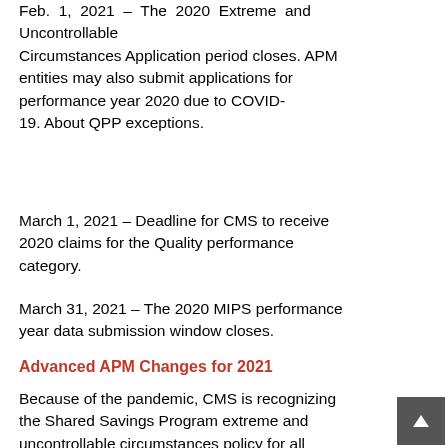Feb. 1, 2021 – The 2020 Extreme and Uncontrollable Circumstances Application period closes. APM entities may also submit applications for performance year 2020 due to COVID-19. About QPP exceptions.
March 1, 2021 – Deadline for CMS to receive 2020 claims for the Quality performance category.
March 31, 2021 – The 2020 MIPS performance year data submission window closes.
Advanced APM Changes for 2021
Because of the pandemic, CMS is recognizing the Shared Savings Program extreme and uncontrollable circumstances policy for all ACOs for the 2020 performance period. CMS is also waiving the requirement for ACOs to field a CAHPS for ACOs Survey and is awarding full